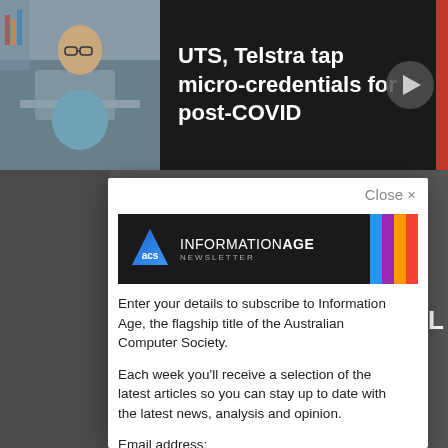[Figure (screenshot): Top banner with photo of person at laptop and headline 'UTS, Telstra tap micro-credentials for post-COVID' with play button]
UTS, Telstra tap micro-credentials for post-COVID
Spons
[Figure (logo): ACS Information Age Newsletter logo banner with colorful vertical bars]
Close ×
Enter your details to subscribe to Information Age, the flagship title of the Australian Computer Society.
Each week you'll receive a selection of the latest articles so you can stay up to date with the latest news, analysis and opinion.
Email address: